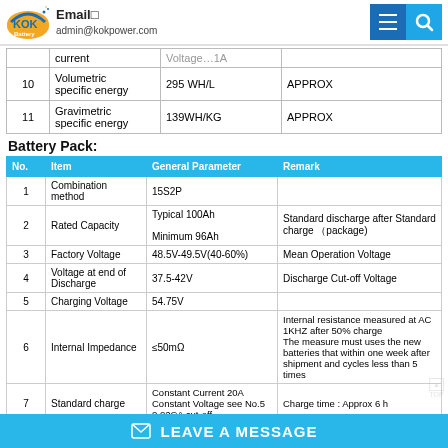Email admin@kokpower.com
|  |  |  |  |
| --- | --- | --- | --- |
|  | current | Voltage…1A |  |
| 10 | Volumetric specific energy | 295 WH/L | APPROX |
| 11 | Gravimetric specific energy | 139WH/KG | APPROX |
Battery Pack:
| No. | Item | General Parameter | Remark |
| --- | --- | --- | --- |
| 1 | Combination method | 15S2P |  |
| 2 | Rated Capacity | Typical  100Ah
Minimum  96Ah | Standard discharge after Standard charge (package) |
| 3 | Factory Voltage | 48.5V-49.5V(40-60%) | Mean Operation Voltage |
| 4 | Voltage at end of Discharge | 37.5-42V | Discharge Cut-off Voltage |
| 5 | Charging Voltage | 54.75V |  |
| 6 | Internal Impedance | ≤50mΩ | Internal resistance measured at AC 1KHZ after 50% charge
The measure must uses the new batteries that within one week after shipment and cycles less than 5 times |
| 7 | Standard charge | Constant Current 20A Constant Voltage see No.5 0.02CA cut-off | Charge time : Approx 6 h |
✉ LEAVE A MESSAGE